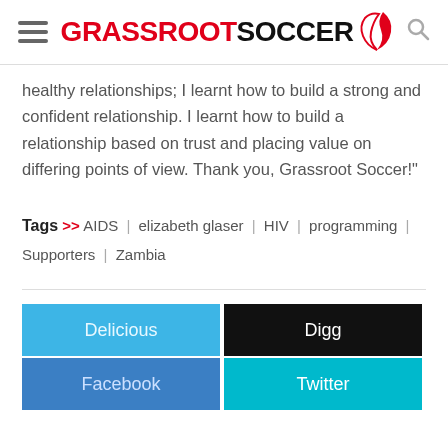GRASSROOTSOCCER
healthy relationships; I learnt how to build a strong and confident relationship. I learnt how to build a relationship based on trust and placing value on differing points of view. Thank you, Grassroot Soccer!"
Tags >> AIDS | elizabeth glaser | HIV | programming | Supporters | Zambia
Delicious | Digg | Facebook | Twitter